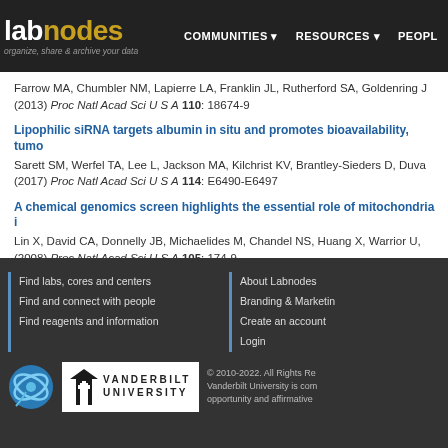labnodes — organize, share & archive your data | COMMUNITIES | RESOURCES | PEOPLE
Farrow MA, Chumbler NM, Lapierre LA, Franklin JL, Rutherford SA, Goldenring J (2013) Proc Natl Acad Sci U S A 110: 18674-9
Lipophilic siRNA targets albumin in situ and promotes bioavailability, tumo
Sarett SM, Werfel TA, Lee L, Jackson MA, Kilchrist KV, Brantley-Sieders D, Duva (2017) Proc Natl Acad Sci U S A 114: E6490-E6497
A chemical genomics screen highlights the essential role of mitochondria i
Lin X, David CA, Donnelly JB, Michaelides M, Chandel NS, Huang X, Warrior U, (2008) Proc Natl Acad Sci U S A 105: 174-9
Find labs, cores and centers | Find and connect with people | Find reagents and information | About Labnodes | Branding & Marketing | Create an account | Login | © 2010-2022. All Rights Reserved. Vanderbilt University is committed to equal opportunity and affirmative